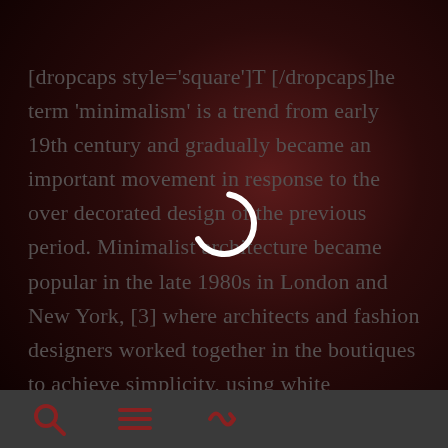[dropcaps style='square']T [/dropcaps]he term 'minimalism' is a trend from early 19th century and gradually became an important movement in response to the over decorated design of the previous period. Minimalist architecture became popular in the late 1980s in London and New York, [3] where architects and fashion designers worked together in the boutiques to achieve simplicity, using white elements, cold lighting, large space with minimum objects and furniture. Minimalist
[Figure (other): Loading spinner overlay — circular ring icon in white, centered on page]